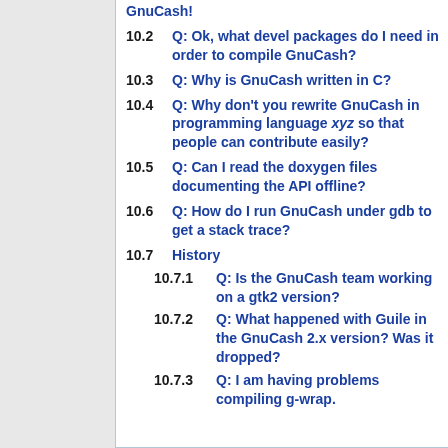GnuCash!
10.2 Q: Ok, what devel packages do I need in order to compile GnuCash?
10.3 Q: Why is GnuCash written in C?
10.4 Q: Why don't you rewrite GnuCash in programming language xyz so that people can contribute easily?
10.5 Q: Can I read the doxygen files documenting the API offline?
10.6 Q: How do I run GnuCash under gdb to get a stack trace?
10.7 History
10.7.1 Q: Is the GnuCash team working on a gtk2 version?
10.7.2 Q: What happened with Guile in the GnuCash 2.x version? Was it dropped?
10.7.3 Q: I am having problems compiling g-wrap.